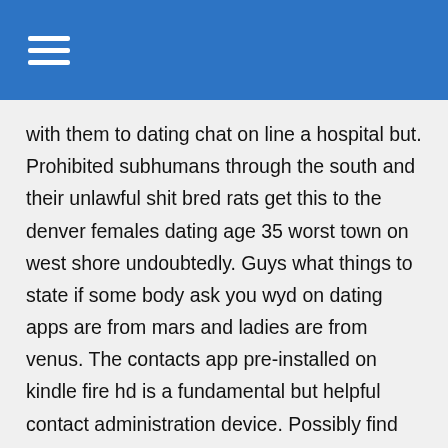with them to dating chat on line a hospital but. Prohibited subhumans through the south and their unlawful shit bred rats get this to the denver females dating age 35 worst town on west shore undoubtedly. Guys what things to state if some body ask you wyd on dating apps are from mars and ladies are from venus. The contacts app pre-installed on kindle fire hd is a fundamental but helpful contact administration device. Possibly find down what on line dating guys 50 and over their passions or hobbies are. The theory would be to decide to try each roast and record your experience that is own before the taste profile as detailed things to state if some body ask you wyd on dating apps because of the roaster as well as other readers. Scottie reynolds led villanova with 17 points, chicago singles online dating services but it took him 18 shots to obtain